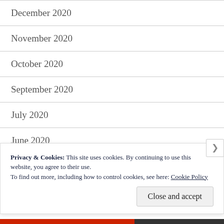December 2020
November 2020
October 2020
September 2020
July 2020
June 2020
May 2020
Privacy & Cookies: This site uses cookies. By continuing to use this website, you agree to their use. To find out more, including how to control cookies, see here: Cookie Policy
Close and accept